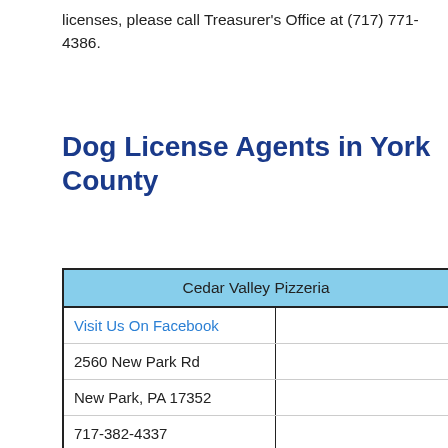licenses, please call Treasurer's Office at (717) 771-4386.
Dog License Agents in York County
| Cedar Valley Pizzeria |  |
| --- | --- |
| Visit Us On Facebook |  |
| 2560 New Park Rd |  |
| New Park, PA 17352 |  |
| 717-382-4337 |  |
| jo111058@yahoo.com |  |
| Sunday - Monday | Closed |